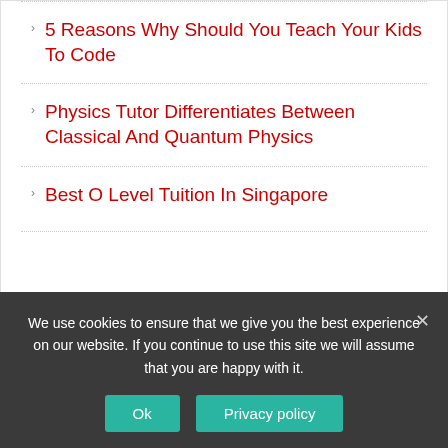5 Reasons Why Should You Teach Your Kids To Code
Physics Tutor Differentiates Between Classical And Quantum Physics
Best O Level Tuition In Singapore
CATEGORIES
We use cookies to ensure that we give you the best experience on our website. If you continue to use this site we will assume that you are happy with it.